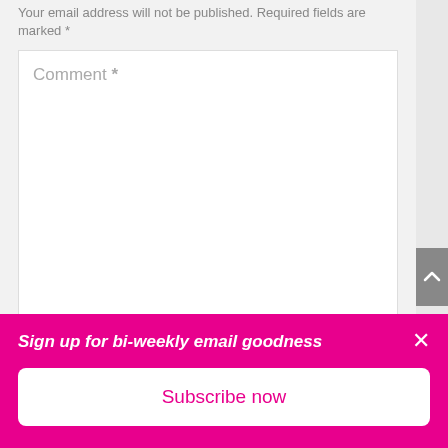Your email address will not be published. Required fields are marked *
Comment *
Name *
Email *
Sign up for bi-weekly email goodness
Subscribe now